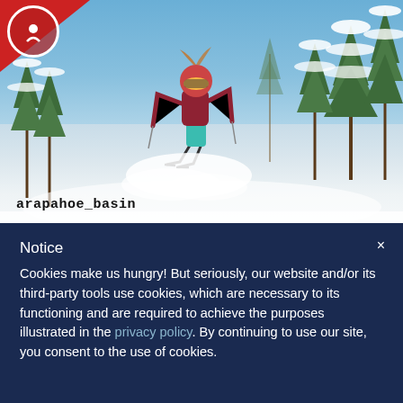[Figure (photo): Skier jumping in powder snow with trees in background and blue sky. Instagram handle 'arapahoe_basin' shown at bottom left. Red corner logo visible at top left.]
arapahoe_basin
Notice
Cookies make us hungry! But seriously, our website and/or its third-party tools use cookies, which are necessary to its functioning and are required to achieve the purposes illustrated in the privacy policy. By continuing to use our site, you consent to the use of cookies.